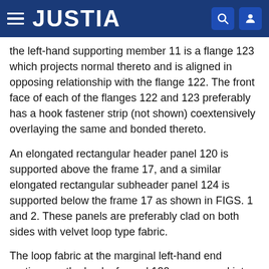JUSTIA
the left-hand supporting member 11 is a flange 123 which projects normal thereto and is aligned in opposing relationship with the flange 122. The front face of each of the flanges 122 and 123 preferably has a hook fastener strip (not shown) coextensively overlaying the same and bonded thereto.
An elongated rectangular header panel 120 is supported above the frame 17, and a similar elongated rectangular subheader panel 124 is supported below the frame 17 as shown in FIGS. 1 and 2. These panels are preferably clad on both sides with velvet loop type fabric.
The loop fabric at the marginal left-hand end portions on the back of panel 120 are pressed into interengagement with the hook fastener strips on the flanges 13 and 13a, and those on the right-hand end are